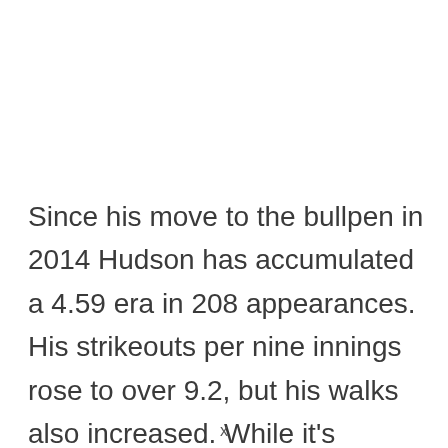Since his move to the bullpen in 2014 Hudson has accumulated a 4.59 era in 208 appearances. His strikeouts per nine innings rose to over 9.2, but his walks also increased. While it's unclear how Hudson will fit into the Dodgers' plans, it's easy to see why they picked him up. A
x